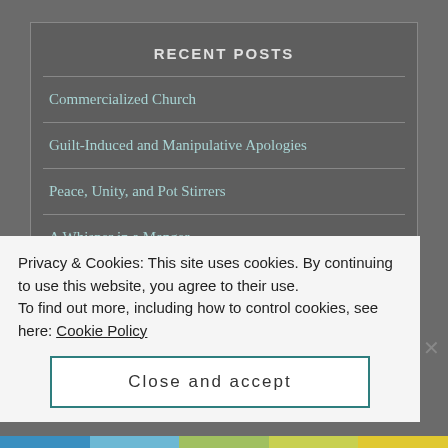RECENT POSTS
Commercialized Church
Guilt-Induced and Manipulative Apologies
Peace, Unity, and Pot Stirrers
A Whisper in a Manger
God Ordained Harm or God Redeemed Harm? A Short
Privacy & Cookies: This site uses cookies. By continuing to use this website, you agree to their use.
To find out more, including how to control cookies, see here: Cookie Policy
Close and accept